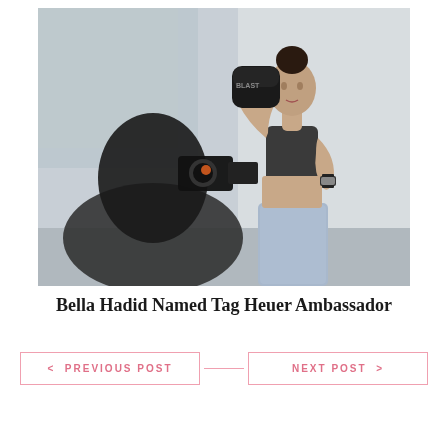[Figure (photo): A woman in a dark sports bra and light denim shorts poses wearing black boxing gloves raised near her face, wearing a watch. A photographer in the foreground captures the shot. The background is a light gray studio or indoor setting.]
Bella Hadid Named Tag Heuer Ambassador
< PREVIOUS POST
NEXT POST >